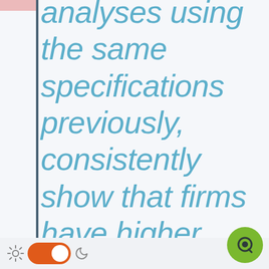analyses using the same specifications previously, consistently show that firms have higher performance during the implementation
[Figure (infographic): UI chrome: dark/light mode toggle switch (orange, turned on), sun icon on left, moon icon on right, and a green circular chat button in bottom-right corner]